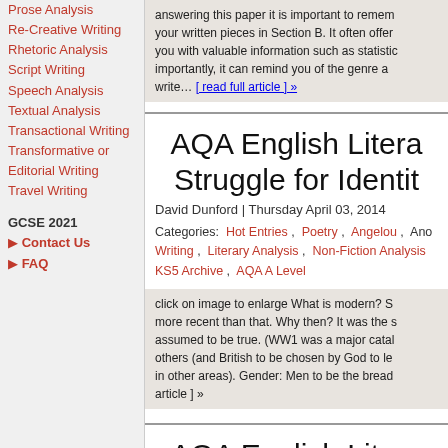Prose Analysis
Re-Creative Writing
Rhetoric Analysis
Script Writing
Speech Analysis
Textual Analysis
Transactional Writing
Transformative or Editorial Writing
Travel Writing
GCSE 2021
► Contact Us
► FAQ
answering this paper it is important to remember your written pieces in Section B. It often offers you with valuable information such as statistics, importantly, it can remind you of the genre a write... [ read full article ] »
AQA English Litera Struggle for Identit
David Dunford | Thursday April 03, 2014
Categories: Hot Entries , Poetry , Angelou , Ano Writing , Literary Analysis , Non-Fiction Analysis KS5 Archive , AQA A Level
click on image to enlarge What is modern? S more recent than that. Why then? It was the s assumed to be true. (WW1 was a major catal others (and British to be chosen by God to le in other areas). Gender: Men to be the bread article ] »
AQA English Litera One N
David Dunford | Wednesday April 02, 2014